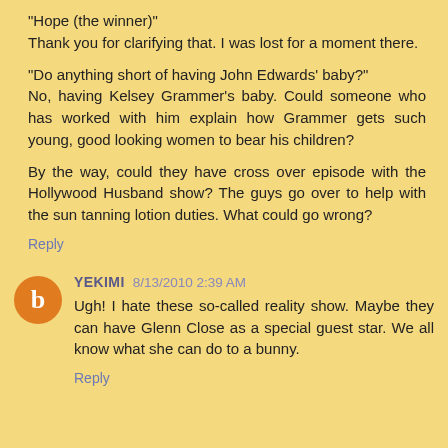"Hope (the winner)"
Thank you for clarifying that. I was lost for a moment there.
"Do anything short of having John Edwards' baby?"
No, having Kelsey Grammer's baby. Could someone who has worked with him explain how Grammer gets such young, good looking women to bear his children?
By the way, could they have cross over episode with the Hollywood Husband show? The guys go over to help with the sun tanning lotion duties. What could go wrong?
Reply
YEKIMI 8/13/2010 2:39 AM
Ugh! I hate these so-called reality show. Maybe they can have Glenn Close as a special guest star. We all know what she can do to a bunny.
Reply